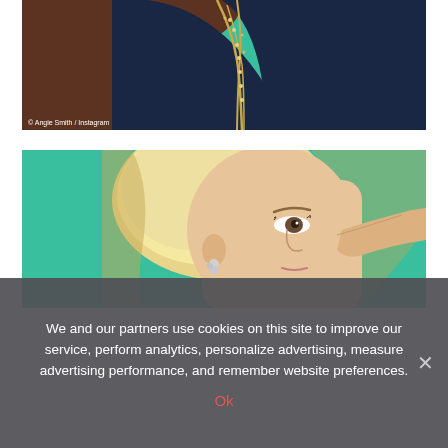[Figure (photo): Close-up photo of a person wearing a dark navy top with gold/crystal embellishments in a V-neckline pattern, shot against a teal/green background. Photo credit: © Angie Smith / Instagram]
[Figure (photo): Photo of a blonde woman being touched up on the nose/face by an unseen hand, against a teal/green background. She is wearing crystal/diamond earrings and looking to the right.]
We and our partners use cookies on this site to improve our service, perform analytics, personalize advertising, measure advertising performance, and remember website preferences.
Ok